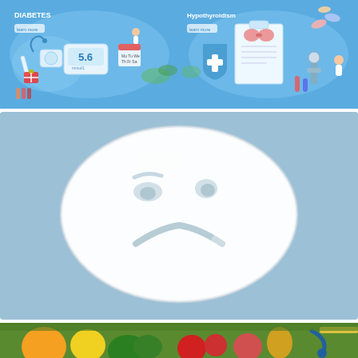[Figure (illustration): Medical illustration for Diabetes on blue background showing a glucose meter reading 5.6, syringes, stethoscope, blood pressure monitor, medical bag, calendar, and small doctor figures]
[Figure (illustration): Medical illustration for Hypothyroidism on blue background showing a clipboard with thyroid diagram, shield with plus sign, microscope, pills, test tubes, and small doctor figures]
[Figure (photo): Photo of a sad face drawn in white sugar/salt crystals on a light blue background, with two eyes, eyebrows, and a downward curved mouth forming a frown]
[Figure (photo): Photo of colorful fresh vegetables and fruits including orange, peppers, broccoli, tomatoes, apples, onions with a yellow measuring tape, partially visible at bottom of page]